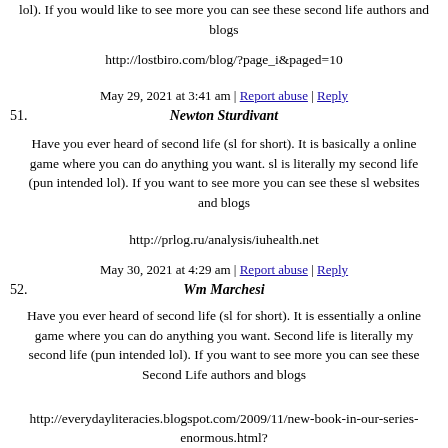lol). If you would like to see more you can see these second life authors and blogs
http://lostbiro.com/blog/?page_i&paged=10
May 29, 2021 at 3:41 am | Report abuse | Reply
51. Newton Sturdivant
Have you ever heard of second life (sl for short). It is basically a online game where you can do anything you want. sl is literally my second life (pun intended lol). If you want to see more you can see these sl websites and blogs
http://prlog.ru/analysis/iuhealth.net
May 30, 2021 at 4:29 am | Report abuse | Reply
52. Wm Marchesi
Have you ever heard of second life (sl for short). It is essentially a online game where you can do anything you want. Second life is literally my second life (pun intended lol). If you want to see more you can see these Second Life authors and blogs
http://everydayliteracies.blogspot.com/2009/11/new-book-in-our-series-enormous.html?